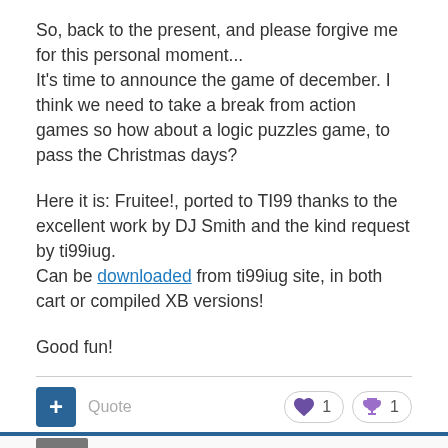So, back to the present, and please forgive me for this personal moment...
It's time to announce the game of december. I think we need to take a break from action games so how about a logic puzzles game, to pass the Christmas days?

Here it is: Fruitee!, ported to TI99 thanks to the excellent work by DJ Smith and the kind request by ti99iug.
Can be downloaded from ti99iug site, in both cart or compiled XB versions!

Good fun!
[Figure (infographic): Action bar with blue plus button, Quote label, heart reaction badge showing 1, trophy reaction badge showing 1]
[Figure (infographic): Blue separator bar and white footer area with avatar thumbnail]